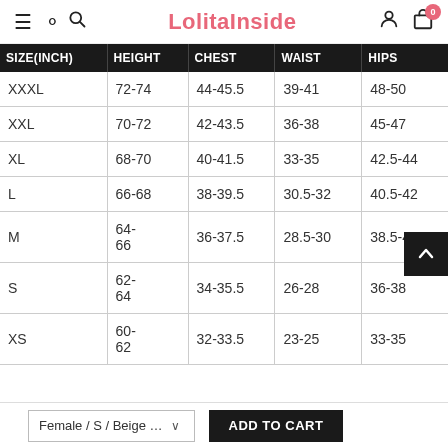LolitaInside
| SIZE(INCH) | HEIGHT | CHEST | WAIST | HIPS |
| --- | --- | --- | --- | --- |
| XXXL | 72-74 | 44-45.5 | 39-41 | 48-50 |
| XXL | 70-72 | 42-43.5 | 36-38 | 45-47 |
| XL | 68-70 | 40-41.5 | 33-35 | 42.5-44 |
| L | 66-68 | 38-39.5 | 30.5-32 | 40.5-42 |
| M | 64-66 | 36-37.5 | 28.5-30 | 38.5-40 |
| S | 62-64 | 34-35.5 | 26-28 | 36-38 |
| XS | 60-62 | 32-33.5 | 23-25 | 33-35 |
Female / S / Beige … ADD TO CART